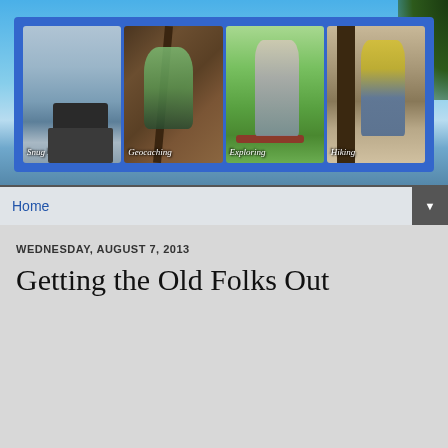[Figure (photo): Blog header banner with blue sky background, white cloud, dark foliage on right, and a strip of four photos labeled: Snug Harbor Bay (dock on water), Geocaching (person near branches), Exploring (person at fence in green field), Hiking (person among trees). Blue border frames the photo strip.]
Home
WEDNESDAY, AUGUST 7, 2013
Getting the Old Folks Out